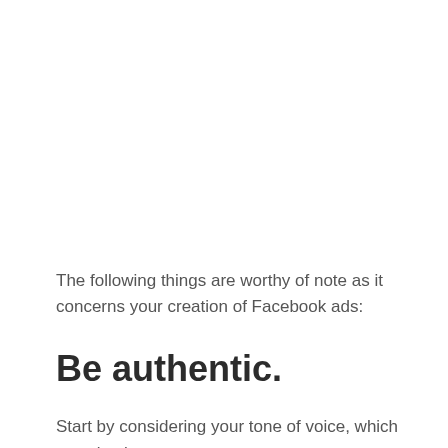The following things are worthy of note as it concerns your creation of Facebook ads:
Be authentic.
Start by considering your tone of voice, which can simply